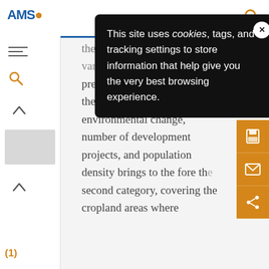[Figure (screenshot): AMS (American Meteorological Society) website navigation bar with logo and search icon]
[Figure (screenshot): Cookie consent popup overlay with black background reading: This site uses cookies, tags, and tracking settings to store information that help give you the very best browsing experience.]
the Sahel where NDVI variation is independent of precipitation. Examination of the spatial distribution of environmental change, number of development projects, and population density brings to the fore the second category, covering the cropland areas where
[Figure (screenshot): Right-side action bar with save, email, and share buttons in orange]